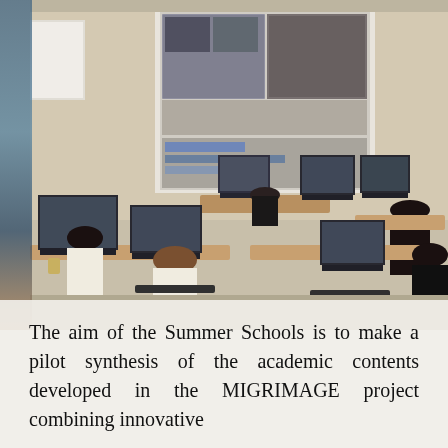[Figure (photo): A computer lab classroom scene. Several students are seated at desks with monitors showing video editing software. At the front, an instructor is seated at a desk. A large projected screen at the front of the room shows a video editing application interface. The setting appears to be a summer school or workshop session related to video/film editing.]
The aim of the Summer Schools is to make a pilot synthesis of the academic contents developed in the MIGRIMAGE project combining innovative